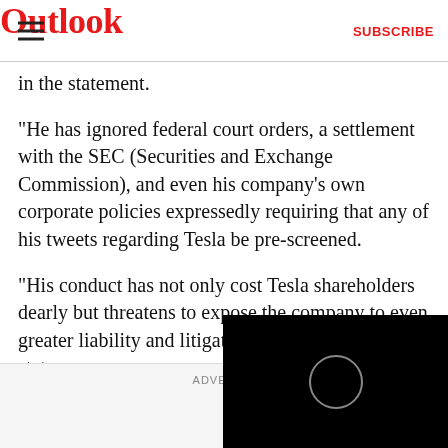Outlook | SUBSCRIBE
in the statement.
"He has ignored federal court orders, a settlement with the SEC (Securities and Exchange Commission), and even his company's own corporate policies expressedly requiring that any of his tweets regarding Tesla be pre-screened.
"His conduct has not only cost Tesla shareholders dearly but threatens to expose the company to even greater liability and litigation in the future," the statem...